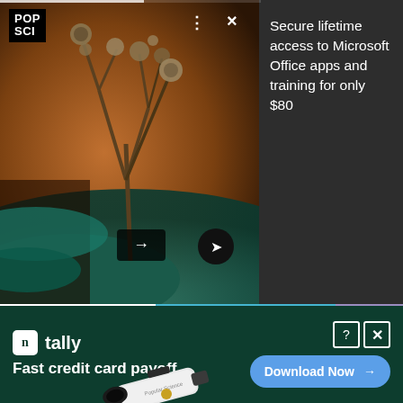[Figure (photo): Cordyceps fungus macro photograph with orange/brown tones, green leaf background. POP SCI logo in top-left. Navigation arrows and controls visible.]
Secure lifetime access to Microsoft Office apps and training for only $80
[Figure (infographic): Popular Science by Celestron telescope advertisement. Blue background with text '10% OFF PLUS FREE GROUND SHIPPING', 'POPULAR SCIENCE BY CELESTRON', telescope image, orange SAVE NOW button.]
[Figure (infographic): Tally app advertisement on dark green background. Tally logo, 'Fast credit card payoff' tagline, 'Download Now' button with arrow. Corner X and ? icons.]